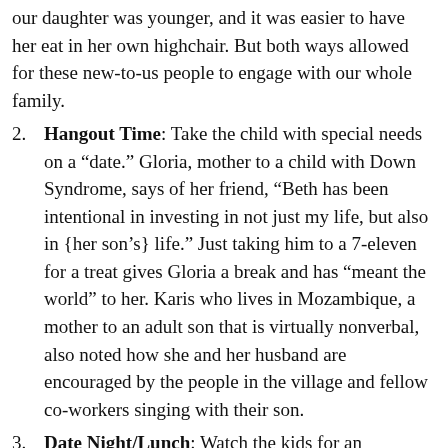our daughter was younger, and it was easier to have her eat in her own highchair. But both ways allowed for these new-to-us people to engage with our whole family.
Hangout Time: Take the child with special needs on a “date.” Gloria, mother to a child with Down Syndrome, says of her friend, “Beth has been intentional in investing in not just my life, but also in {her son’s} life.” Just taking him to a 7-eleven for a treat gives Gloria a break and has “meant the world” to her. Karis who lives in Mozambique, a mother to an adult son that is virtually nonverbal, also noted how she and her husband are encouraged by the people in the village and fellow co-workers singing with their son.
Date Night/Lunch: Watch the kids for an evening, afternoon, or if possible, for an overnight. This is different from the above...